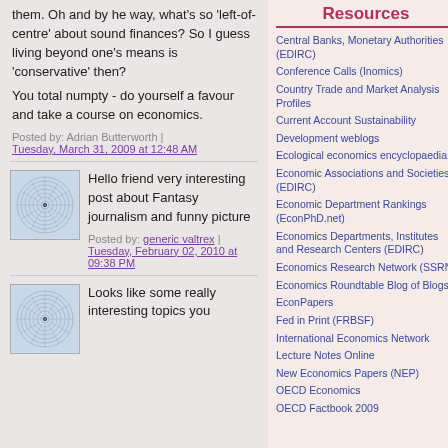them. Oh and by he way, what's so 'left-of-centre' about sound finances? So I guess living beyond one's means is 'conservative' then?
You total numpty - do yourself a favour and take a course on economics.
Posted by: Adrian Butterworth | Tuesday, March 31, 2009 at 12:48 AM
[Figure (illustration): Avatar icon with spiral geometric pattern]
Hello friend very interesting post about Fantasy journalism and funny picture
Posted by: generic valtrex | Tuesday, February 02, 2010 at 09:38 PM
[Figure (illustration): Avatar icon with spiral geometric pattern]
Looks like some really interesting topics you
Resources
Central Banks, Monetary Authorities (EDIRC)
Conference Calls (Inomics)
Country Trade and Market Analysis Profiles
Current Account Sustainability
Development weblogs
Ecological economics encyclopaedia
Economic Associations and Societies (EDIRC)
Economic Department Rankings (EconPhD.net)
Economics Departments, Institutes and Research Centers (EDIRC)
Economics Research Network (SSRN)
Economics Roundtable Blog of Blogs
EconPapers
Fed in Print (FRBSF)
International Economics Network
Lecture Notes Online
New Economics Papers (NEP)
OECD Economics
OECD Factbook 2009